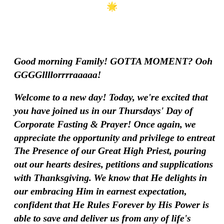[Figure (other): Small decorative icon or emoji at top center of page]
Good morning Family! GOTTA MOMENT? Ooh GGGGllllorrrraaaaa!
Welcome to a new day! Today, we're excited that you have joined us in our Thursdays' Day of Corporate Fasting & Prayer! Once again, we appreciate the opportunity and privilege to entreat The Presence of our Great High Priest, pouring out our hearts desires, petitions and supplications with Thanksgiving. We know that He delights in our embracing Him in earnest expectation, confident that He Rules Forever by His Power is able to save and deliver us from any of life's maladies!Shall we